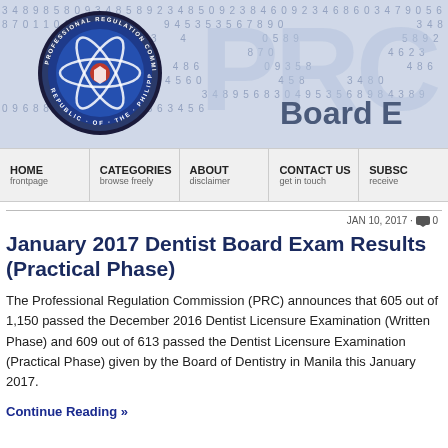[Figure (logo): PRC website header banner with Philippine Professional Regulation Commission logo (blue atomic symbol seal), background of digits/numbers, and large 'PRC' watermark letters with 'Board E' text]
HOME frontpage | CATEGORIES browse freely | ABOUT disclaimer | CONTACT US get in touch | SUBSC... receive...
JAN 10, 2017 · 0
January 2017 Dentist Board Exam Results (Practical Phase)
The Professional Regulation Commission (PRC) announces that 605 out of 1,150 passed the December 2016 Dentist Licensure Examination (Written Phase) and 609 out of 613 passed the Dentist Licensure Examination (Practical Phase) given by the Board of Dentistry in Manila this January 2017.
Continue Reading »